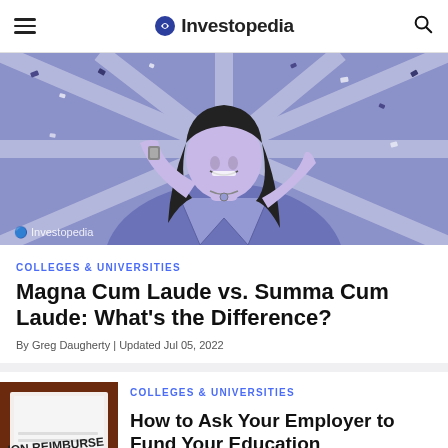Investopedia
[Figure (illustration): Illustrated portrait of a smiling young woman with curly hair, wearing a light jacket, confetti falling around her, in blue/purple tones. Investopedia watermark at bottom left.]
COLLEGES & UNIVERSITIES
Magna Cum Laude vs. Summa Cum Laude: What's the Difference?
By Greg Daugherty | Updated Jul 05, 2022
[Figure (photo): Close-up photo of a paper document showing the words 'TION REIMBURSE APPLICATION' on a dark brown/maroon surface.]
COLLEGES & UNIVERSITIES
How to Ask Your Employer to Fund Your Education